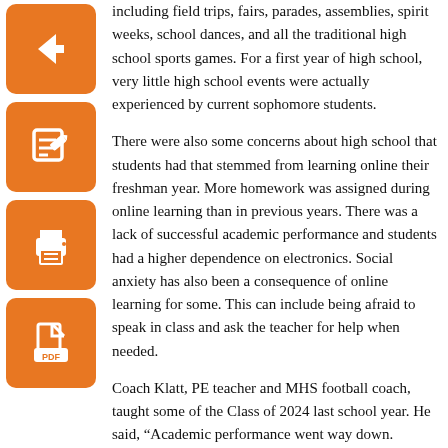[Figure (illustration): Orange square icon with a left-pointing arrow (back/navigation icon)]
[Figure (illustration): Orange square icon with a pencil/edit icon]
[Figure (illustration): Orange square icon with a printer icon]
[Figure (illustration): Orange square icon with a PDF/document icon]
including field trips, fairs, parades, assemblies, spirit weeks, school dances, and all the traditional high school sports games. For a first year of high school, very little high school events were actually experienced by current sophomore students.
There were also some concerns about high school that students had that stemmed from learning online their freshman year. More homework was assigned during online learning than in previous years. There was a lack of successful academic performance and students had a higher dependence on electronics. Social anxiety has also been a consequence of online learning for some. This can include being afraid to speak in class and ask the teacher for help when needed.
Coach Klatt, PE teacher and MHS football coach, taught some of the Class of 2024 last school year. He said, “Academic performance went way down. Students were not turning assignments in and they were not participating. Performance was at an all-time low.”
There were so many problems that resulted from class being taught behind a screen. It was hard to focus, and it was very easy to get distracted.
That was our freshman year.